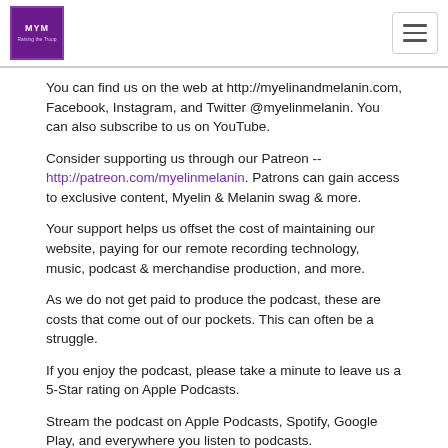Myelin & Melanin podcast logo and navigation
You can find us on the web at http://myelinandmelanin.com, Facebook, Instagram, and Twitter @myelinmelanin. You can also subscribe to us on YouTube.
Consider supporting us through our Patreon -- http://patreon.com/myelinmelanin. Patrons can gain access to exclusive content, Myelin & Melanin swag & more.
Your support helps us offset the cost of maintaining our website, paying for our remote recording technology, music, podcast & merchandise production, and more.
As we do not get paid to produce the podcast, these are costs that come out of our pockets. This can often be a struggle.
If you enjoy the podcast, please take a minute to leave us a 5-Star rating on Apple Podcasts.
Stream the podcast on Apple Podcasts, Spotify, Google Play, and everywhere you listen to podcasts.
Peace!